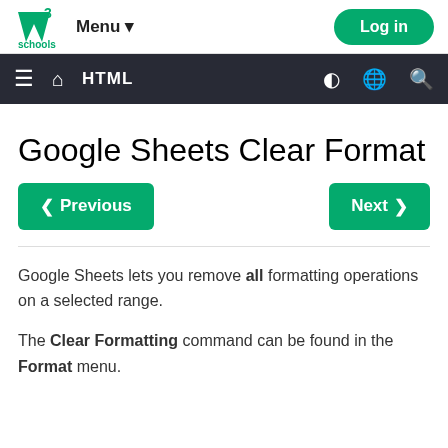W3Schools Menu ▼  Log in
≡ 🏠 HTML  ◑ 🌐 🔍
Google Sheets Clear Format
❮ Previous   Next ❯
Google Sheets lets you remove all formatting operations on a selected range.
The Clear Formatting command can be found in the Format menu.